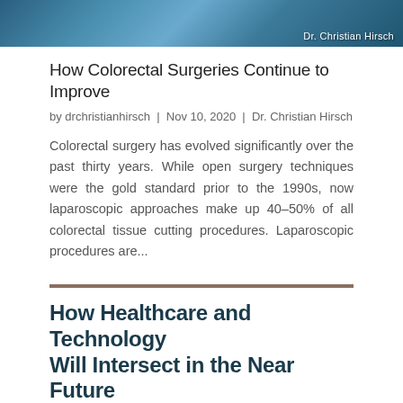[Figure (photo): Medical/surgical image with Dr. Christian Hirsch watermark in bottom right corner]
How Colorectal Surgeries Continue to Improve
by drchristianhirsch | Nov 10, 2020 | Dr. Christian Hirsch
Colorectal surgery has evolved significantly over the past thirty years. While open surgery techniques were the gold standard prior to the 1990s, now laparoscopic approaches make up 40–50% of all colorectal tissue cutting procedures. Laparoscopic procedures are...
How Healthcare and Technology Will Intersect in the Near Future
[Figure (photo): Two people looking at a medical scan/X-ray on a screen]